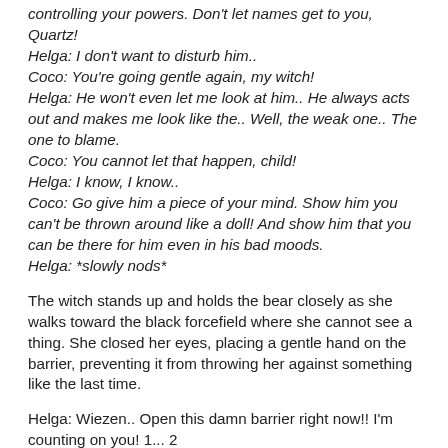controlling your powers. Don't let names get to you, Quartz!
Helga: I don't want to disturb him..
Coco: You're going gentle again, my witch!
Helga: He won't even let me look at him.. He always acts out and makes me look like the.. Well, the weak one.. The one to blame.
Coco: You cannot let that happen, child!
Helga: I know, I know..
Coco: Go give him a piece of your mind. Show him you can't be thrown around like a doll! And show him that you can be there for him even in his bad moods.
Helga: *slowly nods*
The witch stands up and holds the bear closely as she walks toward the black forcefield where she cannot see a thing. She closed her eyes, placing a gentle hand on the barrier, preventing it from throwing her against something like the last time.
Helga: Wiezen.. Open this damn barrier right now!! I'm counting on you! 1... 2